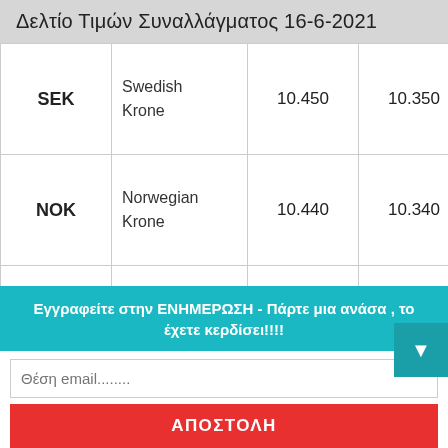Δελτίο Τιμών Συναλλάγματος 16-6-2021
|  | Currency Name | Value 1 | Value 2 | Value 3 |
| --- | --- | --- | --- | --- |
| SEK | Swedish Krone | 10.450 | 10.350 | 9.840 |
| NOK | Norwegian Krone | 10.440 | 10.340 | 9.830 |
| JPY | Japanese Yen | 138.20 | 136.90 | 130.1 |
Εγγραφείτε στην ΕΝΗΜΕΡΩΣΗ - Πάρτε μια ανάσα , το έχετε κερδίσει!!!!
Θέση email........
ΑΠΟΣΤΟΛΗ